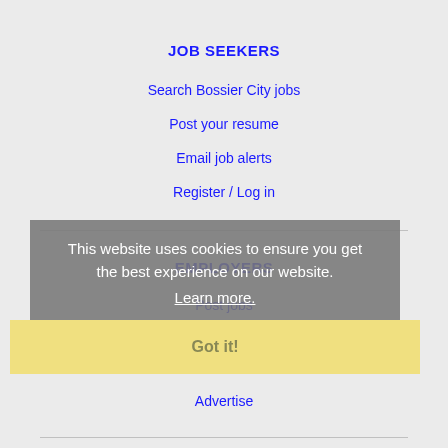JOB SEEKERS
Search Bossier City jobs
Post your resume
Email job alerts
Register / Log in
EMPLOYERS
Post jobs
Search resumes
Email resume alerts
Advertise
IMMIGRATION SPECIALISTS
Post jobs
This website uses cookies to ensure you get the best experience on our website.
Learn more.
Got it!